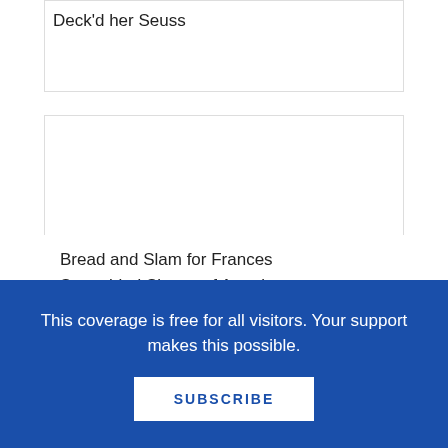Deck'd her Seuss
Bookie Woogie Z-Dad says
October 17, 2009 at 11:54 am
Bread and Slam for Frances
Scrambled Skates of America
Wheel'ya Bedelia
Bam-bi
Miss Nelson is Missing Teeth
Rinker Belle
This coverage is free for all visitors. Your support makes this possible.
SUBSCRIBE